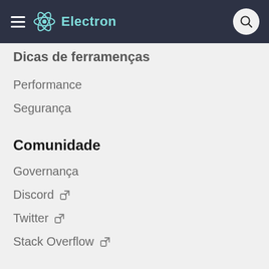Electron
Dicas de ferramentas
Performance
Segurança
Comunidade
Governança
Discord
Twitter
Stack Overflow
Mais